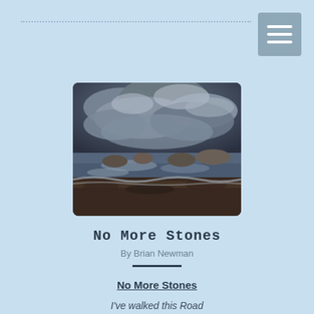[Figure (photo): Stormy seascape photograph showing dark dramatic clouds over rocky shoreline with crashing waves]
No More Stones
By Brian Newman
No More Stones
I've walked this Road